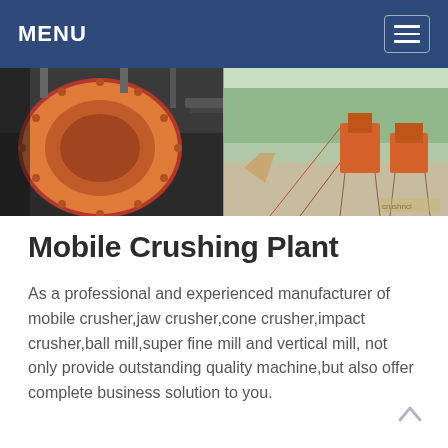MENU
[Figure (photo): Two industrial crushing plant photos side by side: left shows a large orange ball mill/drum with metal studs in an industrial facility; right shows orange mobile crushing and screening equipment with conveyor belts in an outdoor setting.]
Mobile Crushing Plant
As a professional and experienced manufacturer of mobile crusher,jaw crusher,cone crusher,impact crusher,ball mill,super fine mill and vertical mill, not only provide outstanding quality machine,but also offer complete business solution to you.